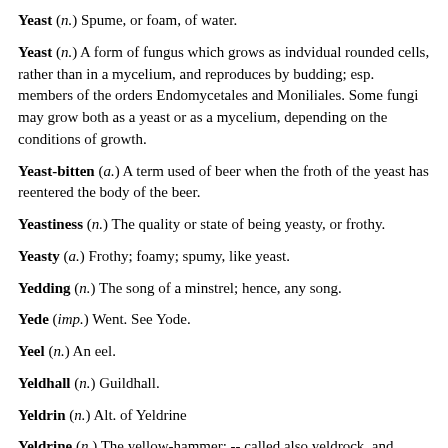Yeast (n.) Spume, or foam, of water.
Yeast (n.) A form of fungus which grows as indvidual rounded cells, rather than in a mycelium, and reproduces by budding; esp. members of the orders Endomycetales and Moniliales. Some fungi may grow both as a yeast or as a mycelium, depending on the conditions of growth.
Yeast-bitten (a.) A term used of beer when the froth of the yeast has reentered the body of the beer.
Yeastiness (n.) The quality or state of being yeasty, or frothy.
Yeasty (a.) Frothy; foamy; spumy, like yeast.
Yedding (n.) The song of a minstrel; hence, any song.
Yede (imp.) Went. See Yode.
Yeel (n.) An eel.
Yeldhall (n.) Guildhall.
Yeldrin (n.) Alt. of Yeldrine
Yeldrine (n.) The yellow-hammer; -- called also yeldrock, and